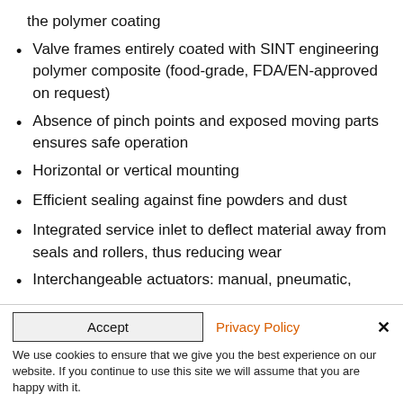the polymer coating
Valve frames entirely coated with SINT engineering polymer composite (food-grade, FDA/EN-approved on request)
Absence of pinch points and exposed moving parts ensures safe operation
Horizontal or vertical mounting
Efficient sealing against fine powders and dust
Integrated service inlet to deflect material away from seals and rollers, thus reducing wear
Interchangeable actuators: manual, pneumatic,
Accept   Privacy Policy   ✕
We use cookies to ensure that we give you the best experience on our website. If you continue to use this site we will assume that you are happy with it.